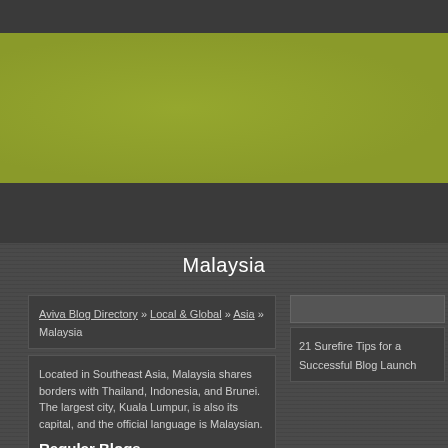[Figure (other): Dark gray top navigation bar]
[Figure (other): Olive/yellow-green banner area]
[Figure (other): Dark gray mid bar]
Malaysia
Aviva Blog Directory » Local & Global » Asia » Malaysia
Located in Southeast Asia, Malaysia shares borders with Thailand, Indonesia, and Brunei. The largest city, Kuala Lumpur, is also its capital, and the official language is Malaysian.
Regular Blogs
21 Surefire Tips for a Successful Blog Launch